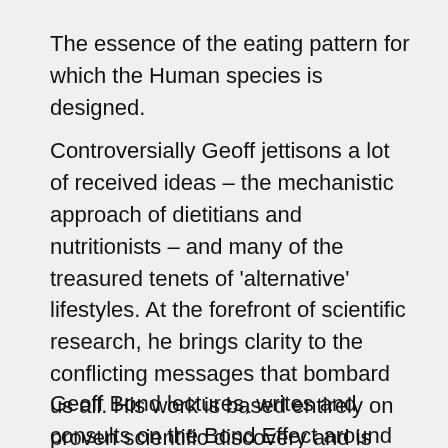The essence of the eating pattern for which the Human species is designed.
Controversially Geoff jettisons a lot of received ideas – the mechanistic approach of dietitians and nutritionists – and many of the treasured tenets of 'alternative' lifestyles. At the forefront of scientific research, he brings clarity to the conflicting messages that bombard us all. His work is based entirely on proven scientific discovery and is endorsed by medical professionals.
Geoff Bond lectures, writes and consults on the Bond Effect around the world. His